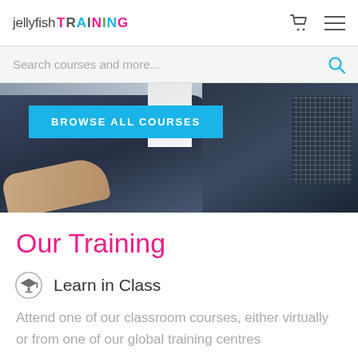jellyfish TRAINING
Search courses and more...
[Figure (photo): Hero image showing two business professionals in suits, with a 'BROWSE ALL COURSES' cyan button overlay on the left side]
Our Training
Learn in Class
Attend one of our classroom courses, either virtually or from one of our global training centres